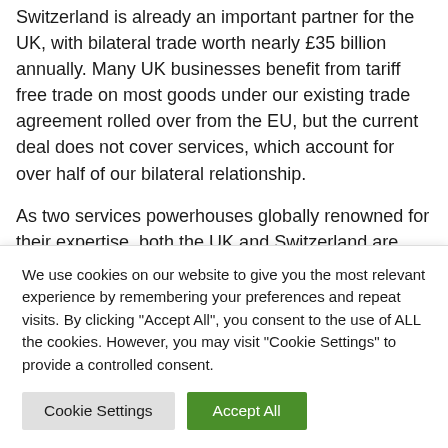Switzerland is already an important partner for the UK, with bilateral trade worth nearly £35 billion annually. Many UK businesses benefit from tariff free trade on most goods under our existing trade agreement rolled over from the EU, but the current deal does not cover services, which account for over half of our bilateral relationship.
As two services powerhouses globally renowned for their expertise, both the UK and Switzerland are keen to negotiate an ambitious, unprecedented free trade agreement that will
We use cookies on our website to give you the most relevant experience by remembering your preferences and repeat visits. By clicking "Accept All", you consent to the use of ALL the cookies. However, you may visit "Cookie Settings" to provide a controlled consent.